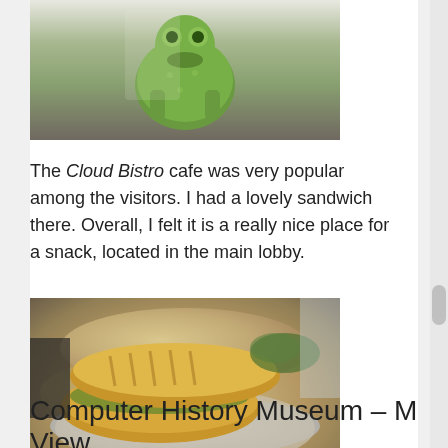[Figure (photo): Photo of a green stuffed toy frog/dinosaur on a table, partially cropped at top of page]
The Cloud Bistro cafe was very popular among the visitors. I had a lovely sandwich there. Overall, I felt it is a really nice place for a snack, located in the main lobby.
[Figure (photo): Photo of a sandwich on a plate at the Cloud Bistro cafe, showing two halves of a toasted sandwich with green fillings on a round plate]
Computer History Museum – M View